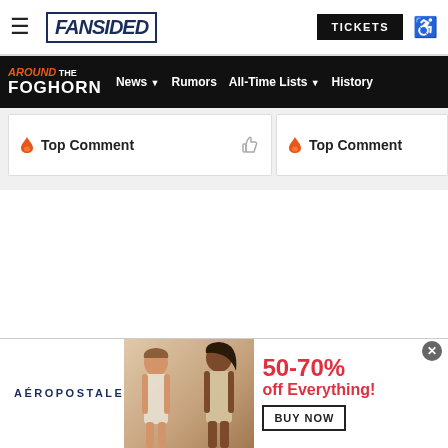FanSided | TICKETS
AROUND THE FOGHORN | News | Rumors | All-Time Lists | History
🔥 Top Comment 👍
🔥 Top Comment
[Figure (photo): Aéropostale advertisement banner showing two female models and text: 50-70% off Everything! BUY NOW]
AÉROPOSTALE  50-70% off Everything!  BUY NOW